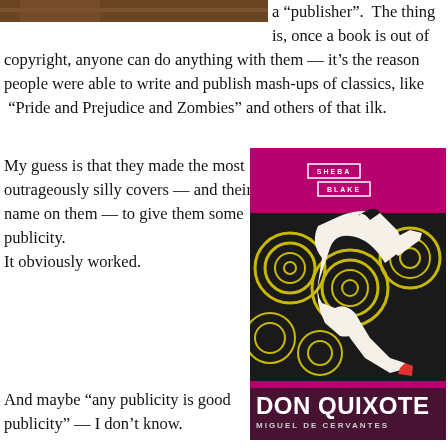[Figure (photo): Partial image of a person at top left, cropped]
a “publisher”.  The thing is, once a book is out of copyright, anyone can do anything with them — it’s the reason people were able to write and publish mash-ups of classics, like  “Pride and Prejudice and Zombies” and others of that ilk.
My guess is that they made the most outrageously silly covers — and their name on them — to give them some publicity.
It obviously worked.
[Figure (photo): Book cover of Don Quixote by Miguel de Cervantes, published by Sheba Blake. Magenta/pink background with a woman in white reclining on a black sofa with swirl pattern. Author name in white bordered boxes at top.]
And maybe “any publicity is good publicity” — I don’t know.
Or maybe the idea is to sell these editions as a joke.  I can imagine some people